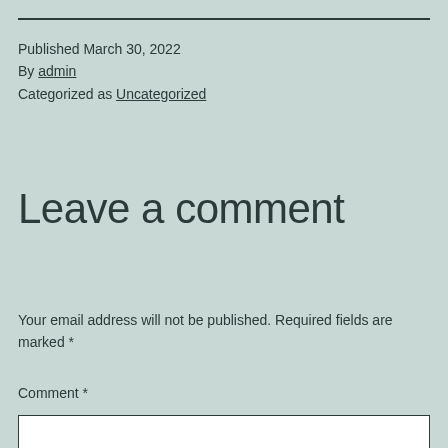Published March 30, 2022
By admin
Categorized as Uncategorized
Leave a comment
Your email address will not be published. Required fields are marked *
Comment *